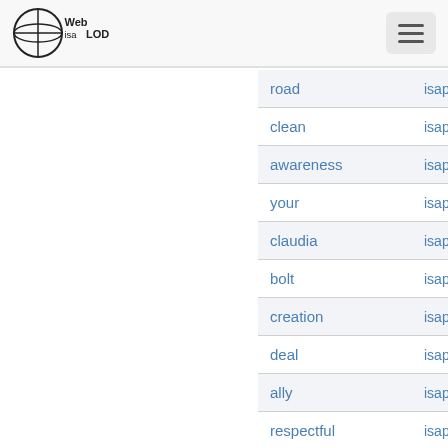Web isa LOD — navigation header with logo and hamburger menu
| term | identifier |
| --- | --- |
| road | isap:455599 |
| clean | isap:295301 |
| awareness | isap:412728 |
| your | isap:461189 |
| claudia | isap:469184 |
| bolt | isap:456259 |
| creation | isap:573431 |
| deal | isap:459781 |
| ally | isap:455324 |
| respectful | isap:284370 |
| manner | isap:100972 |